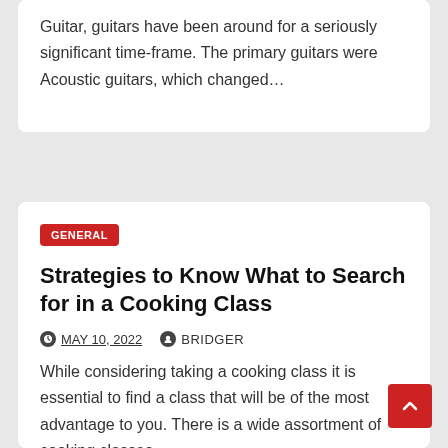Guitar, guitars have been around for a seriously significant time-frame. The primary guitars were Acoustic guitars, which changed…
GENERAL
Strategies to Know What to Search for in a Cooking Class
MAY 10, 2022   BRIDGER
While considering taking a cooking class it is essential to find a class that will be of the most advantage to you. There is a wide assortment of cooking classes…